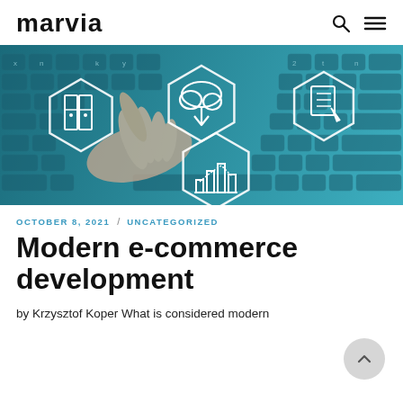marvia
[Figure (photo): Hand on keyboard with white hexagonal icons overlaid: file cabinet/folders, cloud download, pencil/notepad, bar chart — digital e-commerce/cloud services concept on teal-tinted background]
OCTOBER 8, 2021 / UNCATEGORIZED
Modern e-commerce development
by Krzysztof Koper What is considered modern the modern e-commerce?